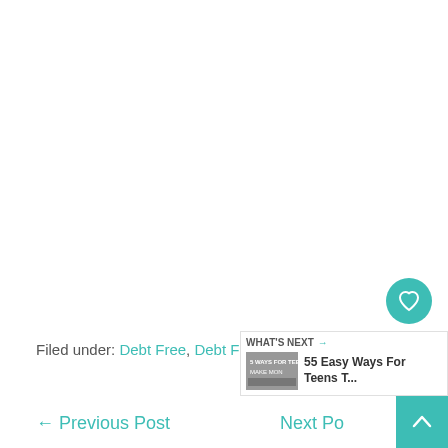Filed under: Debt Free, Debt Free Stories
← Previous Post    Next Post →